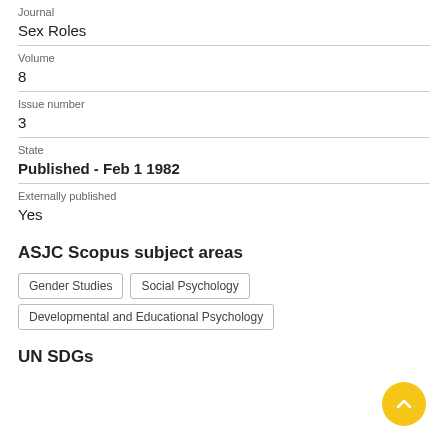Journal
Sex Roles
Volume
8
Issue number
3
State
Published - Feb 1 1982
Externally published
Yes
ASJC Scopus subject areas
Gender Studies
Social Psychology
Developmental and Educational Psychology
UN SDGs